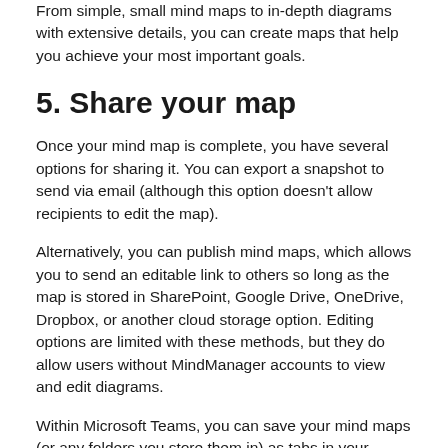From simple, small mind maps to in-depth diagrams with extensive details, you can create maps that help you achieve your most important goals.
5. Share your map
Once your mind map is complete, you have several options for sharing it. You can export a snapshot to send via email (although this option doesn't allow recipients to edit the map).
Alternatively, you can publish mind maps, which allows you to send an editable link to others so long as the map is stored in SharePoint, Google Drive, OneDrive, Dropbox, or another cloud storage option. Editing options are limited with these methods, but they do allow users without MindManager accounts to view and edit diagrams.
Within Microsoft Teams, you can save your mind maps (or any folders you store them in) as tabs in your channels for ease of access. You can also add the